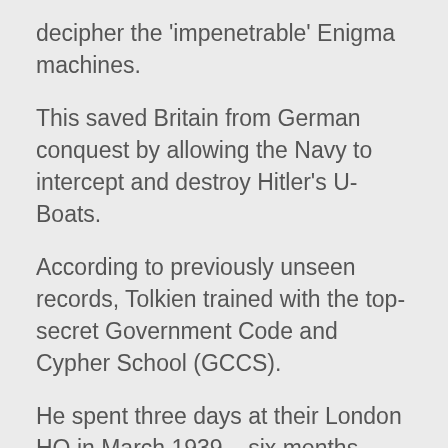decipher the 'impenetrable' Enigma machines.
This saved Britain from German conquest by allowing the Navy to intercept and destroy Hitler's U-Boats.
According to previously unseen records, Tolkien trained with the top-secret Government Code and Cypher School (GCCS).
He spent three days at their London HQ in March 1939 – six months before the outbreak of the Second World War and just 18 months after the